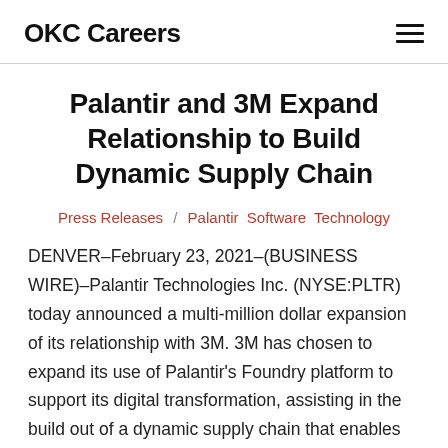OKC Careers
Palantir and 3M Expand Relationship to Build Dynamic Supply Chain
Press Releases / Palantir Software Technology
DENVER–February 23, 2021–(BUSINESS WIRE)–Palantir Technologies Inc. (NYSE:PLTR) today announced a multi-million dollar expansion of its relationship with 3M. 3M has chosen to expand its use of Palantir's Foundry platform to support its digital transformation, assisting in the build out of a dynamic supply chain that enables the global manufacturer to respond nimbly to changes in demand across tens of